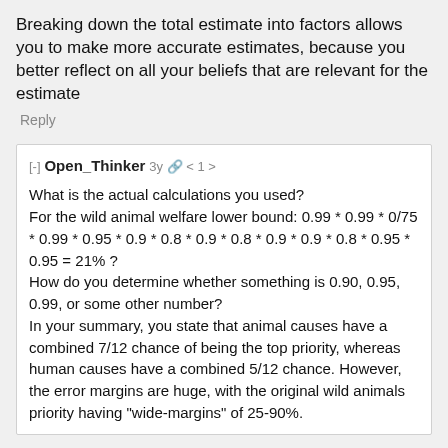Breaking down the total estimate into factors allows you to make more accurate estimates, because you better reflect on all your beliefs that are relevant for the estimate
Reply
[-] Open_Thinker 3y 1
What is the actual calculations you used?
For the wild animal welfare lower bound: 0.99 * 0.99 * 0/75 * 0.99 * 0.95 * 0.9 * 0.8 * 0.9 * 0.8 * 0.9 * 0.9 * 0.8 * 0.95 * 0.95 = 21% ?
How do you determine whether something is 0.90, 0.95, 0.99, or some other number?
In your summary, you state that animal causes have a combined 7/12 chance of being the top priority, whereas human causes have a combined 5/12 chance. However, the error margins are huge, with the original wild animals priority having "wide-margins" of 25-90%.